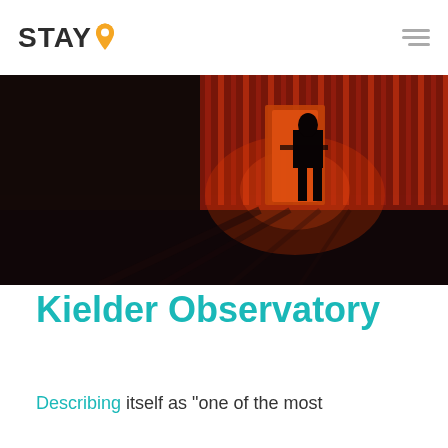STAY
[Figure (photo): Dark atmospheric interior photo showing a silhouetted figure standing in front of a glowing red-lit corrugated wall or structure, with a dark reflective floor in the foreground.]
Kielder Observatory
Describing itself as “one of the most